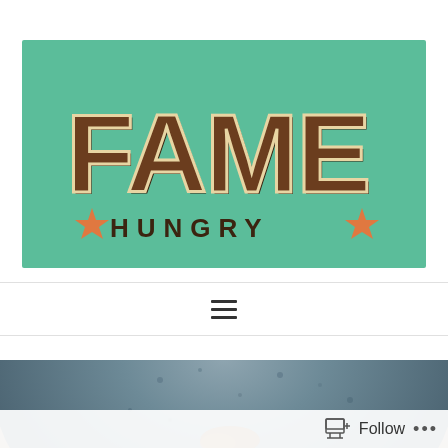[Figure (logo): Fame Hungry logo: large retro brown 3D block letters spelling FAME on a teal/green background, with HUNGRY in smaller brown uppercase letters below, flanked by orange star icons on each side]
[Figure (other): Navigation bar with hamburger menu icon (three horizontal lines) centered on a white background with thin horizontal border lines]
[Figure (photo): Close-up food photograph showing a dark speckled ceramic plate or bowl with food, photographed from above with soft natural lighting]
[Figure (screenshot): Follow button bar at the bottom of the page with a follow icon and the word Follow, plus a three-dot menu icon]